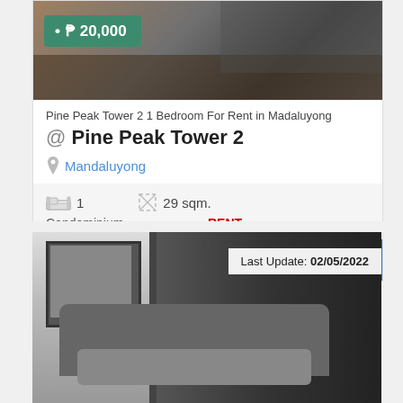[Figure (photo): Interior photo of a furnished condominium unit showing living area with sofas and furniture]
₱ 20,000
Pine Peak Tower 2 1 Bedroom For Rent in Madaluyong
@ Pine Peak Tower 2
Mandaluyong
1  29 sqm.
Condominium  RENT
VIEW DETAILS
[Figure (photo): Interior photo of a condominium unit showing living room with sofa, wall art, and kitchen area in black and white]
Last Update: 02/05/2022